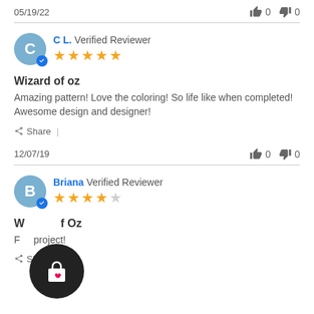05/19/22   👍 0  👎 0
C L. Verified Reviewer ★★★★★
Wizard of oz
Amazing pattern! Love the coloring! So life like when completed! Awesome design and designer!
Share |
12/07/19   👍 0  👎 0
Briana Verified Reviewer ★★★★☆
Wizard of Oz
Fun project!
Share |